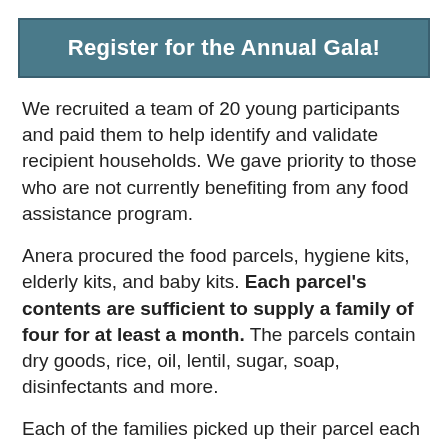Register for the Annual Gala!
We recruited a team of 20 young participants and paid them to help identify and validate recipient households. We gave priority to those who are not currently benefiting from any food assistance program.
Anera procured the food parcels, hygiene kits, elderly kits, and baby kits. Each parcel's contents are sufficient to supply a family of four for at least a month. The parcels contain dry goods, rice, oil, lentil, sugar, soap, disinfectants and more.
Each of the families picked up their parcel each month at the closest of the four distribution centers. The trusted local partners are Ibad Al